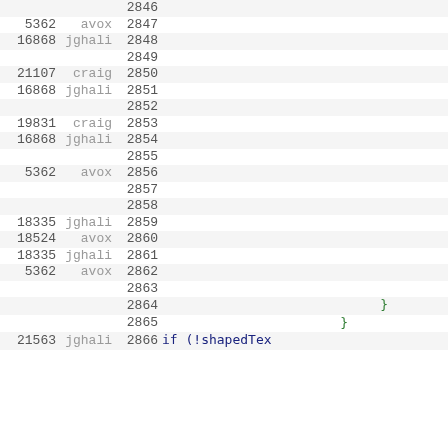| num | user | line | code |
| --- | --- | --- | --- |
|  |  | 2846 |  |
| 5362 | avox | 2847 |  |
| 16868 | jghali | 2848 |  |
|  |  | 2849 |  |
| 21107 | craig | 2850 |  |
| 16868 | jghali | 2851 |  |
|  |  | 2852 |  |
| 19831 | craig | 2853 |  |
| 16868 | jghali | 2854 |  |
|  |  | 2855 |  |
| 5362 | avox | 2856 |  |
|  |  | 2857 |  |
|  |  | 2858 |  |
| 18335 | jghali | 2859 |  |
| 18524 | avox | 2860 |  |
| 18335 | jghali | 2861 |  |
| 5362 | avox | 2862 |  |
|  |  | 2863 |  |
|  |  | 2864 | } |
|  |  | 2865 | } |
| 21563 | jghali | 2866 | if (!shapedTex |